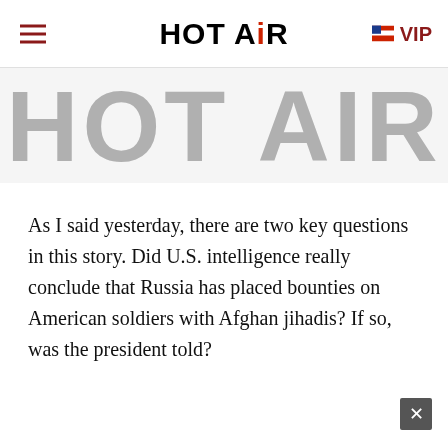HOT AIR  VIP
[Figure (logo): Hot Air website logo watermark/banner image showing large grey HOT AIR text]
As I said yesterday, there are two key questions in this story. Did U.S. intelligence really conclude that Russia has placed bounties on American soldiers with Afghan jihadis? If so, was the president told?